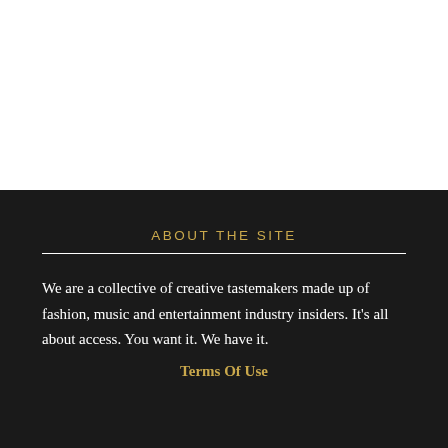[Figure (photo): White blank area at the top portion of the page]
ABOUT THE SITE
We are a collective of creative tastemakers made up of fashion, music and entertainment industry insiders. It's all about access. You want it. We have it.
Terms Of Use